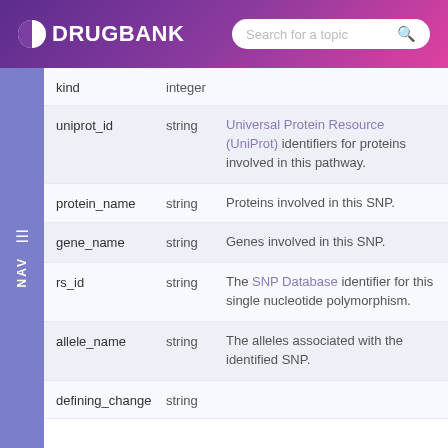DRUGBANK — Search for a topic
| Field | Type | Description |
| --- | --- | --- |
| kind | integer |  |
| uniprot_id | string | Universal Protein Resource (UniProt) identifiers for proteins involved in this pathway. |
| protein_name | string | Proteins involved in this SNP. |
| gene_name | string | Genes involved in this SNP. |
| rs_id | string | The SNP Database identifier for this single nucleotide polymorphism. |
| allele_name | string | The alleles associated with the identified SNP. |
| defining_change | string |  |